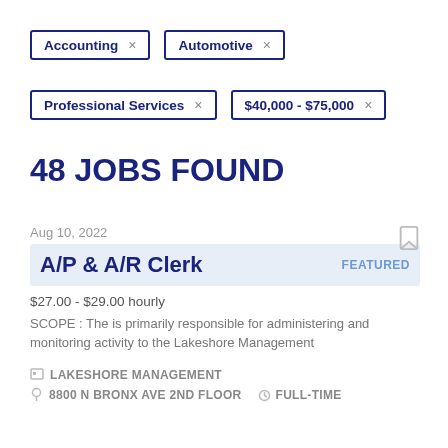Accounting ×
Automotive ×
Professional Services ×
$40,000 - $75,000 ×
48 JOBS FOUND
Aug 10, 2022
A/P & A/R Clerk   FEATURED
$27.00 - $29.00 hourly
SCOPE : The is primarily responsible for administering and monitoring activity to the Lakeshore Management
LAKESHORE MANAGEMENT
8800 N BRONX AVE 2ND FLOOR   FULL-TIME